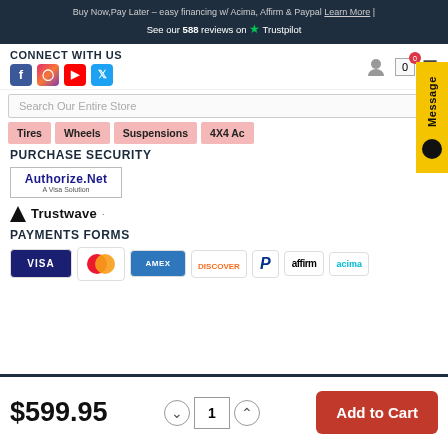Buy Now, Pay Later – easy financing w/ Acima, Affirm & Paypal Learn More | See our 588 reviews on ★ Trustpilot
CONNECT WITH US
Social media icons: Facebook, Instagram, YouTube, Twitter
Search Our Entire Store
Tires | Wheels | Suspensions | 4X4 Accessories
PURCHASE SECURITY
[Figure (logo): Authorize.Net – A Visa Solution logo]
[Figure (logo): Trustwave logo]
PAYMENTS FORMS
[Figure (logo): Payment method logos: Visa, Mastercard, AMEX, Discover, PayPal, Affirm, Acima]
$599.95
Quantity: 1
Add to Cart